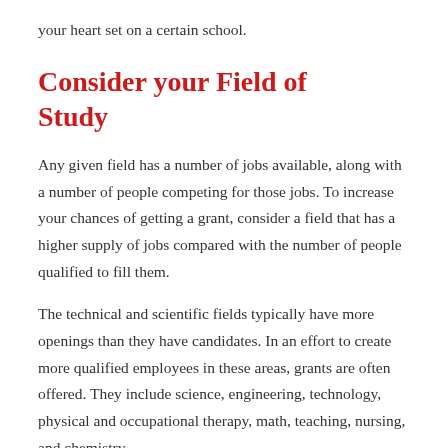your heart set on a certain school.
Consider your Field of Study
Any given field has a number of jobs available, along with a number of people competing for those jobs. To increase your chances of getting a grant, consider a field that has a higher supply of jobs compared with the number of people qualified to fill them.
The technical and scientific fields typically have more openings than they have candidates. In an effort to create more qualified employees in these areas, grants are often offered. They include science, engineering, technology, physical and occupational therapy, math, teaching, nursing, and chemistry.